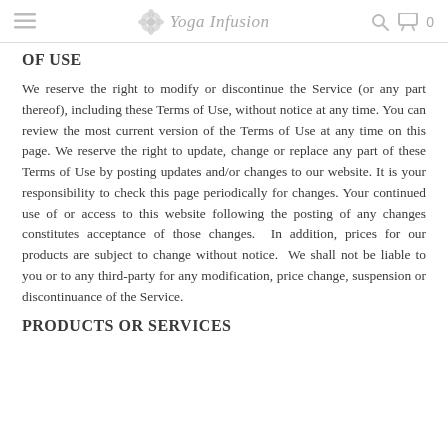Yoga Infusion
OF USE
We reserve the right to modify or discontinue the Service (or any part thereof), including these Terms of Use, without notice at any time. You can review the most current version of the Terms of Use at any time on this page. We reserve the right to update, change or replace any part of these Terms of Use by posting updates and/or changes to our website. It is your responsibility to check this page periodically for changes. Your continued use of or access to this website following the posting of any changes constitutes acceptance of those changes.  In addition, prices for our products are subject to change without notice.  We shall not be liable to you or to any third-party for any modification, price change, suspension or discontinuance of the Service.
PRODUCTS OR SERVICES